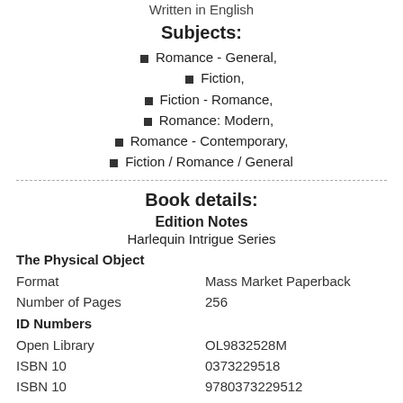Written in English
Subjects:
Romance - General,
Fiction,
Fiction - Romance,
Romance: Modern,
Romance - Contemporary,
Fiction / Romance / General
Book details:
Edition Notes
Harlequin Intrigue Series
The Physical Object
Format	Mass Market Paperback
Number of Pages	256
ID Numbers
Open Library	OL9832528M
ISBN 10	0373229518
ISBN 10	9780373229512